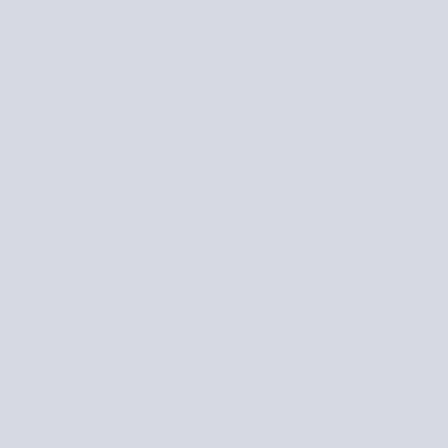MUERTE DE BELGRANO (2...
NEXO MAHOMA (COMIENZO CON WASHINGTON D.C (FU...
SAN MIGUEL DE TUCUMAN, MUNDIAL
SAINT MARY MAGDALENE= TIME"=HOLY GRAIL
SEGUN JUAN 11:9 EL 11/9 O... NEXO CON LA "MAQUINA D...
MENORAH=PLEYADES=GUS... TRES="RELOJ MASONICO":...
ULTRA SECRETO MASONIC...
GATO DE SCHRODINGER (M... GRIALICA) - MARCOS/ MAR...
1 DE REYES 6:20-APOCALIP... SANTOS=CUBO="MAQUINA...
SOL-O-MON=SOL Y LUNA=S... A=PHI=1.618=ESCALERA DE...
DOLAR="MAQUINA DEL TIE... RELATIVIDAD DE EINSTEIN"...
DOLAR= TEMPLO DE MARIA... =SAN JUAN MARCOS